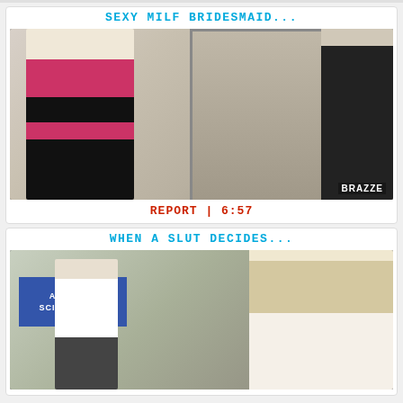SEXY MILF BRIDESMAID...
[Figure (photo): Thumbnail image of a blonde woman in lingerie standing in front of a mirror with a man in black suit visible, Brazzers watermark visible in bottom right corner]
REPORT | 6:57
WHEN A SLUT DECIDES...
[Figure (photo): Thumbnail image of a classroom/science fair scene with a bald man in white shirt and tie and a blonde woman, Academy Science Fair banner visible in background]